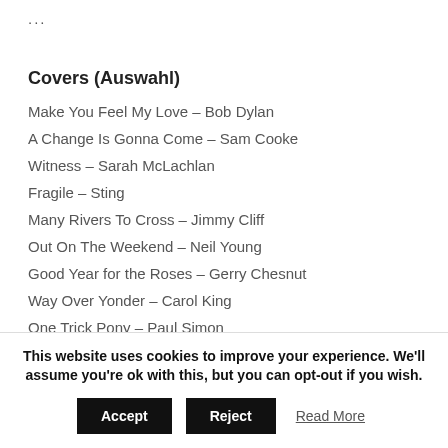...
Covers (Auswahl)
Make You Feel My Love – Bob Dylan
A Change Is Gonna Come – Sam Cooke
Witness – Sarah McLachlan
Fragile – Sting
Many Rivers To Cross – Jimmy Cliff
Out On The Weekend – Neil Young
Good Year for the Roses – Gerry Chesnut
Way Over Yonder – Carol King
One Trick Pony – Paul Simon
Easy Money – Rickie Lee Jones
Open Season On My Heart – Rodney Crowell
This website uses cookies to improve your experience. We'll assume you're ok with this, but you can opt-out if you wish.